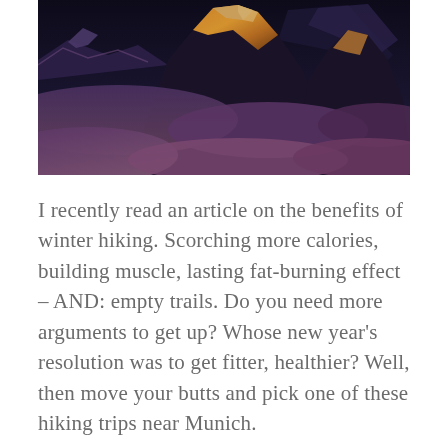[Figure (photo): Mountain peak with snow and golden-orange alpenglow light at dusk, surrounded by dark purple-blue clouds and distant snow-covered ridges.]
I recently read an article on the benefits of winter hiking. Scorching more calories, building muscle, lasting fat-burning effect – AND: empty trails. Do you need more arguments to get up? Whose new year's resolution was to get fitter, healthier? Well, then move your butts and pick one of these hiking trips near Munich.